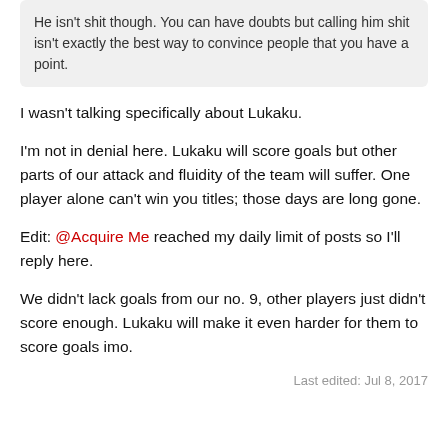He isn't shit though. You can have doubts but calling him shit isn't exactly the best way to convince people that you have a point.
I wasn't talking specifically about Lukaku.
I'm not in denial here. Lukaku will score goals but other parts of our attack and fluidity of the team will suffer. One player alone can't win you titles; those days are long gone.
Edit: @Acquire Me reached my daily limit of posts so I'll reply here.
We didn't lack goals from our no. 9, other players just didn't score enough. Lukaku will make it even harder for them to score goals imo.
Last edited: Jul 8, 2017